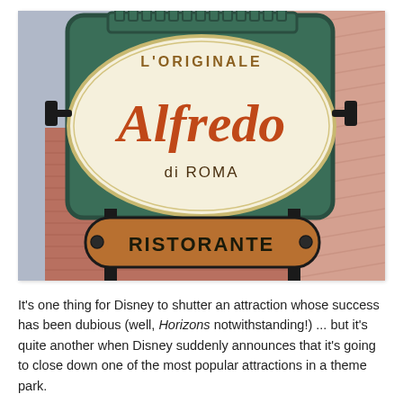[Figure (photo): Photo of the L'Originale Alfredo di Roma restaurant sign with a green ornate frame, an oval cream background with 'L'ORIGINALE' at the top and 'Alfredo' in large cursive red lettering and 'di ROMA' below, plus a lower brown sign reading 'RISTORANTE'.]
It's one thing for Disney to shutter an attraction whose success has been dubious (well, Horizons notwithstanding!) ... but it's quite another when Disney suddenly announces that it's going to close down one of the most popular attractions in a theme park.